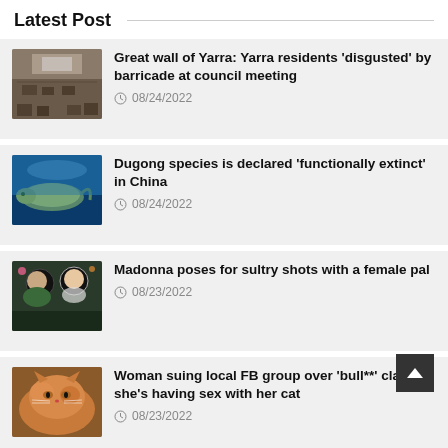Latest Post
Great wall of Yarra: Yarra residents 'disgusted' by barricade at council meeting
08/24/2022
Dugong species is declared 'functionally extinct' in China
08/24/2022
Madonna poses for sultry shots with a female pal
08/23/2022
Woman suing local FB group over 'bull**' claims she's having sex with her cat
08/23/2022